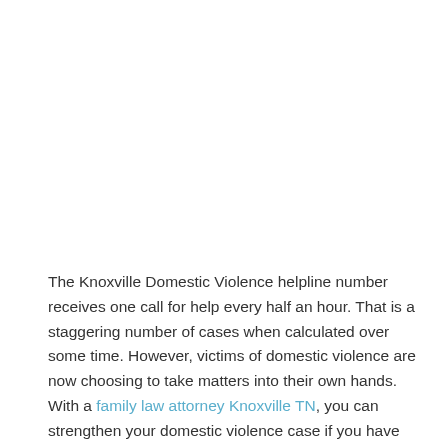The Knoxville Domestic Violence helpline number receives one call for help every half an hour. That is a staggering number of cases when calculated over some time. However, victims of domestic violence are now choosing to take matters into their own hands. With a family law attorney Knoxville TN, you can strengthen your domestic violence case if you have been a victim of abuse. Here is how.